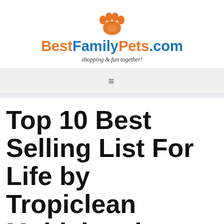[Figure (logo): BestFamilyPets.com logo with orange paw print icon above the text. 'Best' in orange bold, 'Family' in blue bold, 'Pets' in orange bold, '.com' in blue bold.]
shopping & fun together!
[Figure (other): Navigation bar with hamburger menu icon (three horizontal lines)]
Top 10 Best Selling List For Life by Tropiclean Multivitamin